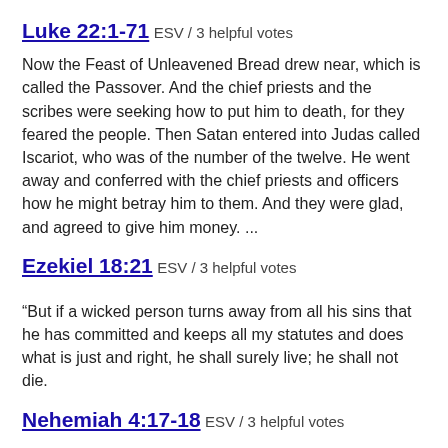Luke 22:1-71 ESV / 3 helpful votes
Now the Feast of Unleavened Bread drew near, which is called the Passover. And the chief priests and the scribes were seeking how to put him to death, for they feared the people. Then Satan entered into Judas called Iscariot, who was of the number of the twelve. He went away and conferred with the chief priests and officers how he might betray him to them. And they were glad, and agreed to give him money. ...
Ezekiel 18:21 ESV / 3 helpful votes
“But if a wicked person turns away from all his sins that he has committed and keeps all my statutes and does what is just and right, he shall surely live; he shall not die.
Nehemiah 4:17-18 ESV / 3 helpful votes
Who were building on the wall. Those who carried burdens were loaded in such a way that each labored on the work with one hand and held his weapon with the